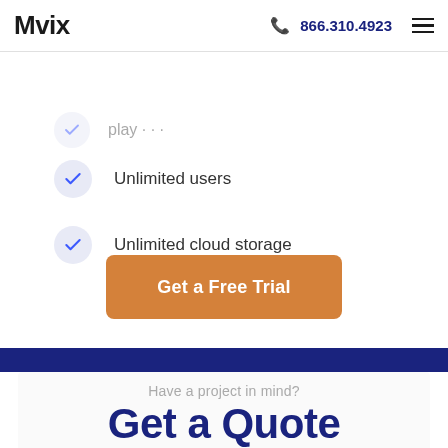Mvix | 866.310.4923
Unlimited users
Unlimited cloud storage
Get a Free Trial
Have a project in mind?
Get a Quote